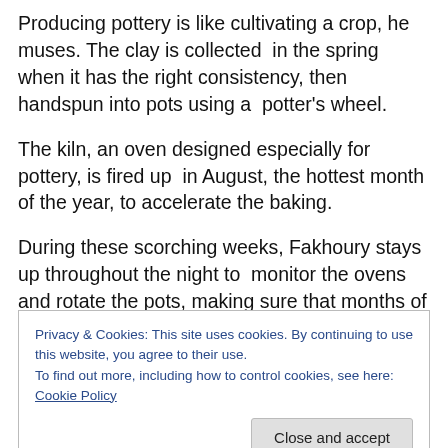Producing pottery is like cultivating a crop, he muses. The clay is collected in the spring when it has the right consistency, then handspun into pots using a potter's wheel.
The kiln, an oven designed especially for pottery, is fired up in August, the hottest month of the year, to accelerate the baking.
During these scorching weeks, Fakhoury stays up throughout the night to monitor the ovens and rotate the pots, making sure that months of intensive craftsmanship
Privacy & Cookies: This site uses cookies. By continuing to use this website, you agree to their use.
To find out more, including how to control cookies, see here: Cookie Policy
only produces one batch of pots a year.